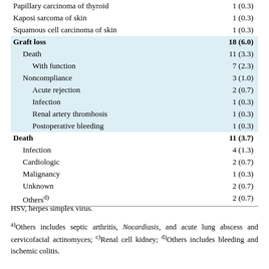| Condition | n (%) |
| --- | --- |
| Papillary carcinoma of thyroid | 1 (0.3) |
| Kaposi sarcoma of skin | 1 (0.3) |
| Squamous cell carcinoma of skin | 1 (0.3) |
| Graft loss | 18 (6.0) |
| Death | 11 (3.3) |
| With function | 7 (2.3) |
| Noncompliance | 3 (1.0) |
| Acute rejection | 2 (0.7) |
| Infection | 1 (0.3) |
| Renal artery thrombosis | 1 (0.3) |
| Postoperative bleeding | 1 (0.3) |
| Death | 11 (3.7) |
| Infection | 4 (1.3) |
| Cardiologic | 2 (0.7) |
| Malignancy | 1 (0.3) |
| Unknown | 2 (0.7) |
| Others(d) | 2 (0.7) |
HSV, herpes simplex virus.
a)Others includes septic arthritis, Nocardiasis, and acute lung abscess and cervicofacial actinomyces; c)Renal cell kidney; d)Others includes bleeding and ischemic colitis.